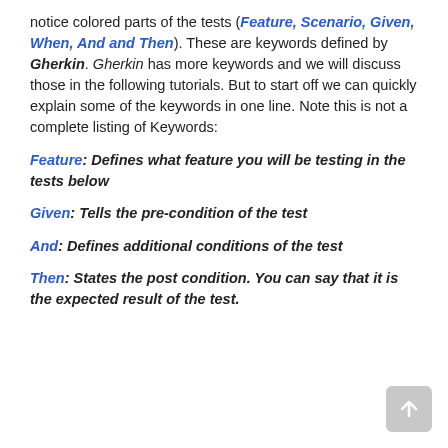notice colored parts of the tests (Feature, Scenario, Given, When, And and Then). These are keywords defined by Gherkin. Gherkin has more keywords and we will discuss those in the following tutorials. But to start off we can quickly explain some of the keywords in one line. Note this is not a complete listing of Keywords:
Feature: Defines what feature you will be testing in the tests below
Given: Tells the pre-condition of the test
And: Defines additional conditions of the test
Then: States the post condition. You can say that it is the expected result of the test.